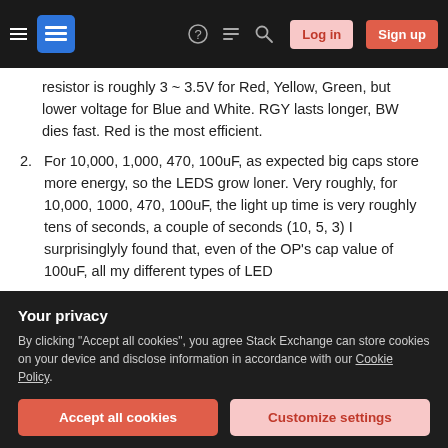Stack Exchange navigation bar with hamburger, logo, question mark, chat, search icons, Log in and Sign up buttons
resistor is roughly 3 ~ 3.5V for Red, Yellow, Green, but lower voltage for Blue and White. RGY lasts longer, BW dies fast. Red is the most efficient.
2. For 10,000, 1,000, 470, 100uF, as expected big caps store more energy, so the LEDS grow loner. Very roughly, for 10,000, 1000, 470, 100uF, the light up time is very roughly tens of seconds, a couple of seconds (10, 5, 3) I surprisinglyly found that, even of the OP's cap value of 100uF, all my different types of LED
Your privacy
By clicking "Accept all cookies", you agree Stack Exchange can store cookies on your device and disclose information in accordance with our Cookie Policy.
Accept all cookies
Customize settings
the ordinary low power LEDs, when testing conditions around 3 ~ 3.5 at high 111 350 →